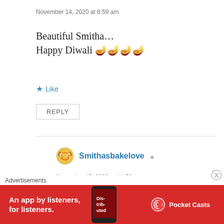November 14, 2020 at 8:59 am
Beautiful Smitha…
Happy Diwali 🪔🪔🪔🪔
★ Like
REPLY
Smithasbakelove ▲
November 15, 2020 at 11:59 am
Thank you Athira…hope you had a great time!
Liked by 1 person
Advertisements
[Figure (infographic): Pocket Casts advertisement banner on red background with text 'An app by listeners, for listeners.' and a phone image showing book cover]